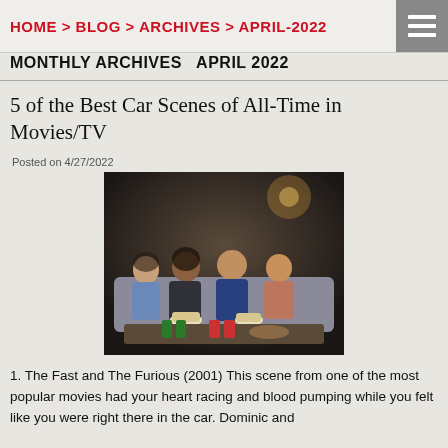HOME > BLOG > ARCHIVES > APRIL-2022
MONTHLY ARCHIVES  APRIL 2022
5 of the Best Car Scenes of All-Time in Movies/TV
Posted on 4/27/2022
[Figure (photo): Four young adults sitting on a couch watching TV, with popcorn and drinks on the table in front of them]
1. The Fast and The Furious (2001) This scene from one of the most popular movies had your heart racing and blood pumping while you felt like you were right there in the car. Dominic and